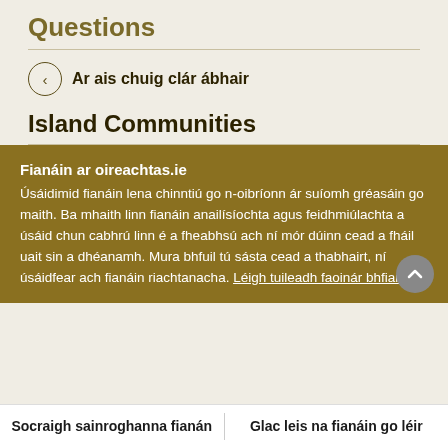Questions
Ar ais chuig clár ábhair
Island Communities
Fianáin ar oireachtas.ie
Úsáidimid fianáin lena chinntiú go n-oibríonn ár suíomh gréasáin go maith. Ba mhaith linn fianáin anailísíochta agus feidhmiúlachta a úsáid chun cabhrú linn é a fheabhsú ach ní mór dúinn cead a fháil uait sin a dhéanamh. Mura bhfuil tú sásta cead a thabhairt, ní úsáidfear ach fianáin riachtanacha. Léigh tuileadh faoinár bhfianáin
Socraigh sainroghanna fianán
Glac leis na fianáin go léir